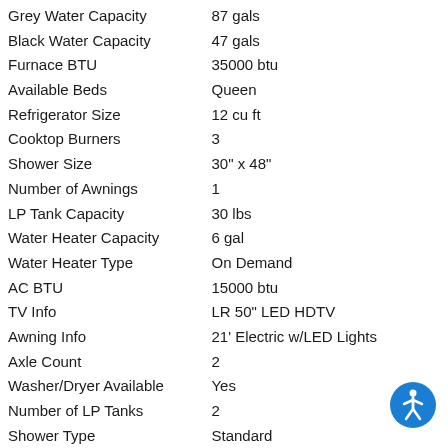| Attribute | Value |
| --- | --- |
| Grey Water Capacity | 87 gals |
| Black Water Capacity | 47 gals |
| Furnace BTU | 35000 btu |
| Available Beds | Queen |
| Refrigerator Size | 12 cu ft |
| Cooktop Burners | 3 |
| Shower Size | 30" x 48" |
| Number of Awnings | 1 |
| LP Tank Capacity | 30 lbs |
| Water Heater Capacity | 6 gal |
| Water Heater Type | On Demand |
| AC BTU | 15000 btu |
| TV Info | LR 50" LED HDTV |
| Awning Info | 21' Electric w/LED Lights |
| Axle Count | 2 |
| Washer/Dryer Available | Yes |
| Number of LP Tanks | 2 |
| Shower Type | Standard |
| Electrical Service | 50 amp |
[Figure (infographic): Blue circular accessibility icon with a white person figure in the bottom-right corner]